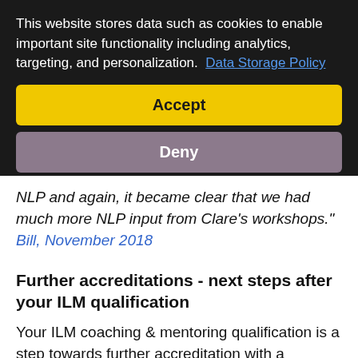This website stores data such as cookies to enable important site functionality including analytics, targeting, and personalization. Data Storage Policy
Accept
Deny
NLP and again, it became clear that we had much more NLP input from Clare's workshops." Bill, November 2018
Further accreditations - next steps after your ILM qualification
Your ILM coaching & mentoring qualification is a step towards further accreditation with a professional body